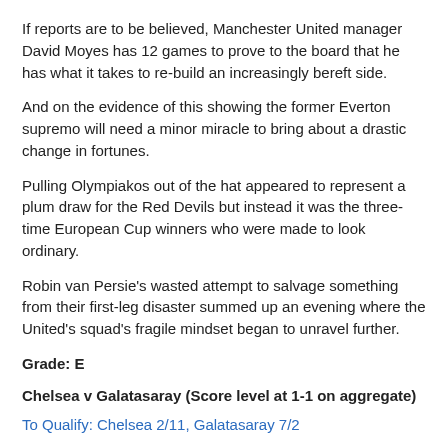If reports are to be believed, Manchester United manager David Moyes has 12 games to prove to the board that he has what it takes to re-build an increasingly bereft side.
And on the evidence of this showing the former Everton supremo will need a minor miracle to bring about a drastic change in fortunes.
Pulling Olympiakos out of the hat appeared to represent a plum draw for the Red Devils but instead it was the three-time European Cup winners who were made to look ordinary.
Robin van Persie's wasted attempt to salvage something from their first-leg disaster summed up an evening where the United's squad's fragile mindset began to unravel further.
Grade: E
Chelsea v Galatasaray (Score level at 1-1 on aggregate)
To Qualify: Chelsea 2/11, Galatasaray 7/2
Chelsea at least managed to do what none of their Premier League counterparts managed – score a goal – but even Jose Mourinho's side will be feeling somewhat deflated after their trip to Istanbul.
An inability to kill off the game following Fernando Torres' opener meant Galatasaray were able to mount a comeback, with the Spaniard himself guilty of wasting a gilt-edged chance to increase the Blues' lead.